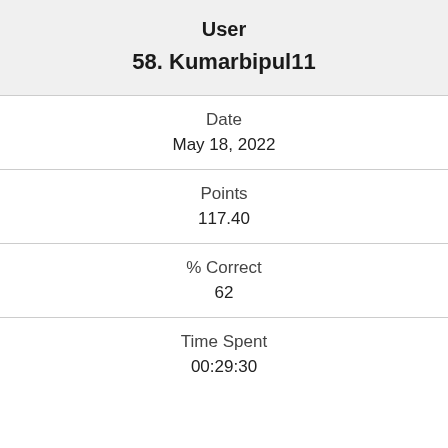User
58. Kumarbipul11
Date
May 18, 2022
Points
117.40
% Correct
62
Time Spent
00:29:30